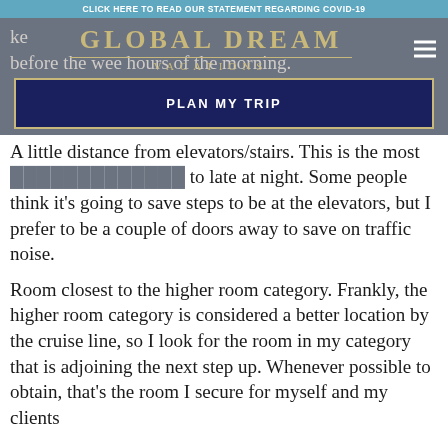CLICK HERE TO READ OUR STATEMENT REGARDING COVID-19
[Figure (logo): Global Dream Vacations logo with gold text and divider line]
A little distance from elevators/stairs. This is the most [PLAN MY TRIP button overlay] to late at night. Some people think it's going to save steps to be at the elevators, but I prefer to be a couple of doors away to save on traffic noise.
Room closest to the higher room category. Frankly, the higher room category is considered a better location by the cruise line, so I look for the room in my category that is adjoining the next step up. Whenever possible to obtain, that's the room I secure for myself and my clients